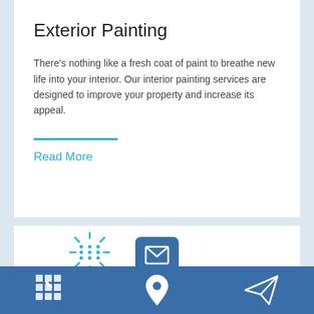Exterior Painting
There's nothing like a fresh coat of paint to breathe new life into your interior. Our interior painting services are designed to improve your property and increase its appeal.
Read More
[Figure (screenshot): Mobile app screenshot showing contact icons: phone/grid icon on left, envelope icon in center with dark blue button, location pin on right in the bottom navigation bar; also a sun/grid icon above the phone icon in the second card area.]